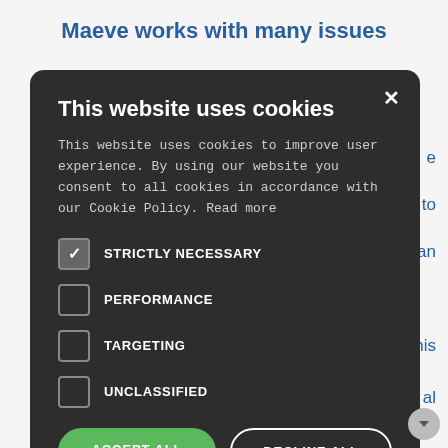Maeve works with many issues
e
e to
an
[Figure (screenshot): Cookie consent modal dialog with dark background. Title: 'This website uses cookies'. Body text: 'This website uses cookies to improve user experience. By using our website you consent to all cookies in accordance with our Cookie Policy. Read more'. Four checkboxes: STRICTLY NECESSARY (checked), PERFORMANCE (unchecked), TARGETING (unchecked), UNCLASSIFIED (unchecked). Two buttons: ACCEPT ALL (green) and DECLINE ALL (outlined white). A gear icon with SHOW DETAILS at the bottom.]
this
al
r
ow
ere